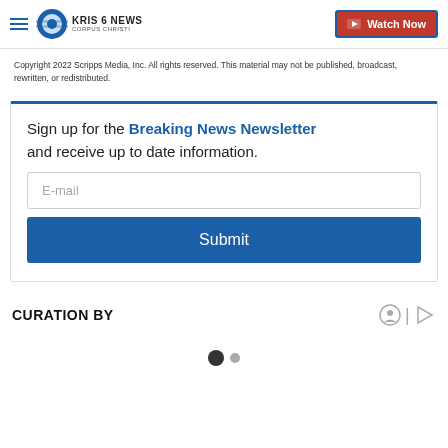KRIS 6 NEWS CORPUS CHRISTI — Watch Now
Copyright 2022 Scripps Media, Inc. All rights reserved. This material may not be published, broadcast, rewritten, or redistributed.
Sign up for the Breaking News Newsletter and receive up to date information. E-mail Submit
CURATION BY
[Figure (other): Pagination dots: one large filled dot and one smaller dot]